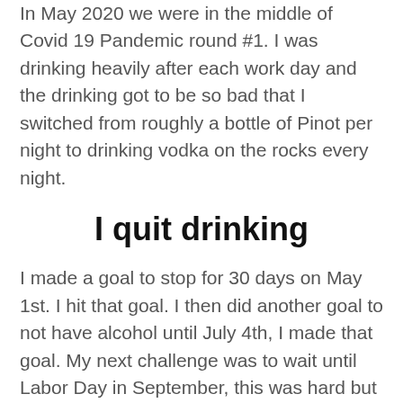In May 2020 we were in the middle of Covid 19 Pandemic round #1. I was drinking heavily after each work day and the drinking got to be so bad that I switched from roughly a bottle of Pinot per night to drinking vodka on the rocks every night.
I quit drinking
I made a goal to stop for 30 days on May 1st. I hit that goal. I then did another goal to not have alcohol until July 4th, I made that goal. My next challenge was to wait until Labor Day in September, this was hard but I pulled it off. Then I waited until today (my birthday) to have a drink.